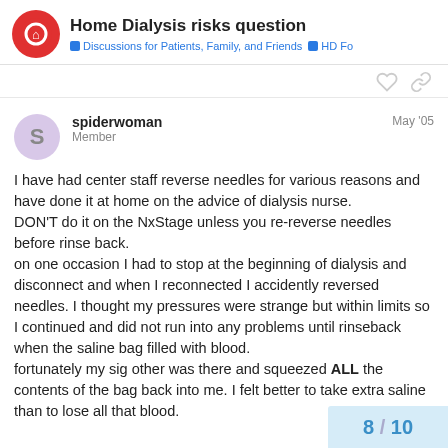Home Dialysis risks question — Discussions for Patients, Family, and Friends • HD Fo
spiderwoman Member May '05
I have had center staff reverse needles for various reasons and have done it at home on the advice of dialysis nurse.
DON'T do it on the NxStage unless you re-reverse needles before rinse back.
on one occasion I had to stop at the beginning of dialysis and disconnect and when I reconnected I accidently reversed needles. I thought my pressures were strange but within limits so I continued and did not run into any problems until rinseback when the saline bag filled with blood.
fortunately my sig other was there and squeezed ALL the contents of the bag back into me. I felt better to take extra saline than to lose all that blood.
8 / 10